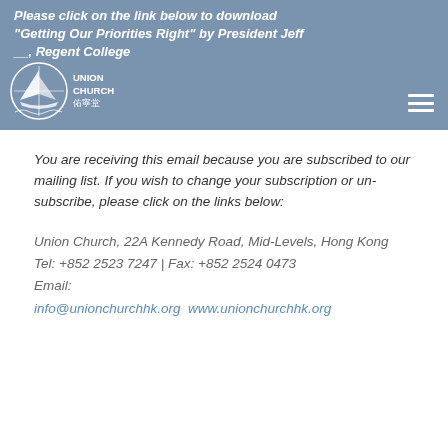Please click on the link below to download "Getting Our Priorities Right" by President Jeff __, Regent College
[Figure (logo): Union Church logo with sailboat icon and Chinese characters 佑寧堂]
You are receiving this email because you are subscribed to our mailing list. If you wish to change your subscription or un-subscribe, please click on the links below:
Union Church, 22A Kennedy Road, Mid-Levels, Hong Kong
Tel: +852 2523 7247 | Fax: +852 2524 0473
Email:
info@unionchurchhk.org  www.unionchurchhk.org